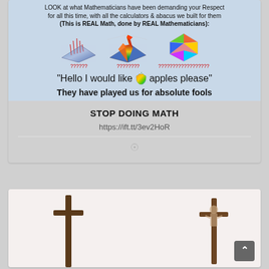[Figure (screenshot): Meme image with light blue background showing mathematical 3D surface plots and a colorful geometric polyhedron, with question marks below each, and text reading 'Hello I would like [apple logo] apples please' and 'They have played us for absolute fools'. Top text: LOOK at what Mathematicians have been demanding your Respect for all this time, with all the calculators & abacus we built for them (This is REAL Math, done by REAL Mathematicians):]
STOP DOING MATH
https://ift.tt/3ev2HoR
[Figure (photo): Two wooden crosses photographed against a light/white background, partially cropped at the bottom of the page. A dark grey scroll-to-top button is visible in the bottom right corner.]